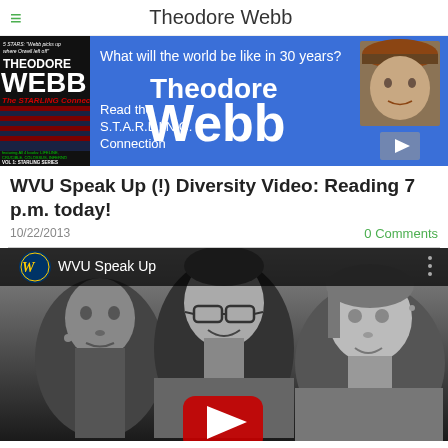Theodore Webb
[Figure (screenshot): Website banner for Theodore Webb author site featuring book cover on left and blue promotional banner on right with text 'What will the world be like in 30 years? Theodore Webb Read the S.T.A.R.L.I.N.G. Connection' and author photo]
WVU Speak Up (!) Diversity Video: Reading 7 p.m. today!
10/22/2013
0 Comments
[Figure (screenshot): YouTube video thumbnail for WVU Speak Up video showing three people in black and white photo with WVU logo and play button overlay]